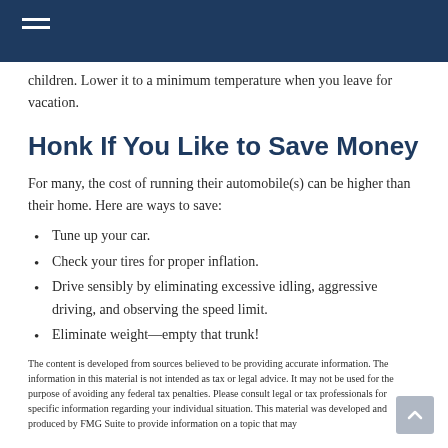children. Lower it to a minimum temperature when you leave for vacation.
Honk If You Like to Save Money
For many, the cost of running their automobile(s) can be higher than their home. Here are ways to save:
Tune up your car.
Check your tires for proper inflation.
Drive sensibly by eliminating excessive idling, aggressive driving, and observing the speed limit.
Eliminate weight—empty that trunk!
The content is developed from sources believed to be providing accurate information. The information in this material is not intended as tax or legal advice. It may not be used for the purpose of avoiding any federal tax penalties. Please consult legal or tax professionals for specific information regarding your individual situation. This material was developed and produced by FMG Suite to provide information on a topic that may